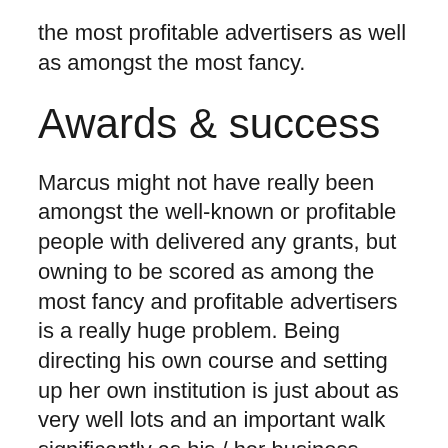the most profitable advertisers as well as amongst the most fancy.
Awards & success
Marcus might not have really been amongst the well-known or profitable people with delivered any grants, but owning to be scored as among the most fancy and profitable advertisers is a really huge problem. Being directing his own course and setting up her own institution is just about as very well lots and an important walk significantly as his / her business